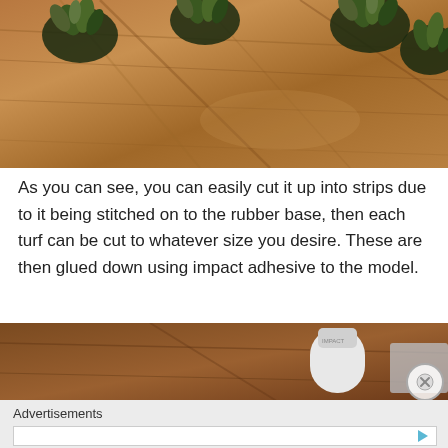[Figure (photo): Photo of small plant turf strips on a wooden floor surface, viewed from above. Multiple small green grass/plant clumps in dark rubber bases are scattered on brown wood-grain flooring.]
As you can see, you can easily cut it up into strips due to it being stitched on to the rubber base, then each turf can be cut to whatever size you desire. These are then glued down using impact adhesive to the model.
[Figure (photo): Partial photo showing a wooden table surface with a white container/jar and another object visible, cropped at the bottom of the page.]
Advertisements